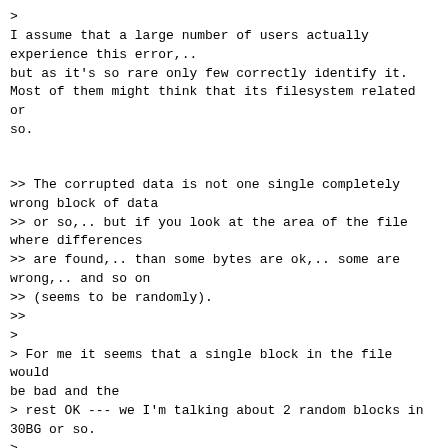>
I assume that a large number of users actually
experience this error,..
but as it's so rare only few correctly identify it.
Most of them might think that its filesystem related or
so.
>> The corrupted data is not one single completely
wrong block of data
>> or so,.. but if you look at the area of the file
where differences
>> are found,.. than some bytes are ok,.. some are
wrong,.. and so on
>> (seems to be randomly).
>>
>
> For me it seems that a single block in the file would
be bad and the
> rest OK --- we I'm talking about 2 random blocks in
30BG or so.
>
Did you check this with an hex editor? I did it an
while the errors were
restricted to one "region" of a file.... it was not so
that that region
was completely corrupted but only some single bytes.
Actually it was that mostly one bit was wrong,..